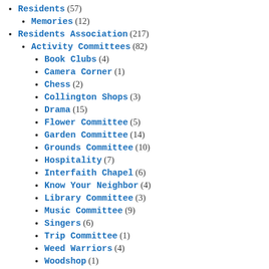Residents (57)
Memories (12)
Residents Association (217)
Activity Committees (82)
Book Clubs (4)
Camera Corner (1)
Chess (2)
Collington Shops (3)
Drama (15)
Flower Committee (5)
Garden Committee (14)
Grounds Committee (10)
Hospitality (7)
Interfaith Chapel (6)
Know Your Neighbor (4)
Library Committee (3)
Music Committee (9)
Singers (6)
Trip Committee (1)
Weed Warriors (4)
Woodshop (1)
OO Shop (4)
Operating Committees (106)
Building Committee (20)
Climate Action (12)
Dining (9)